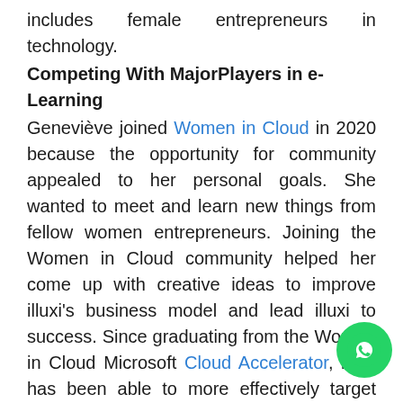includes female entrepreneurs in technology.
Competing With MajorPlayers in e-Learning
Geneviève joined Women in Cloud in 2020 because the opportunity for community appealed to her personal goals. She wanted to meet and learn new things from fellow women entrepreneurs. Joining the Women in Cloud community helped her come up with creative ideas to improve illuxi's business model and lead illuxi to success. Since graduating from the Women in Cloud Microsoft Cloud Accelerator, illuxi has been able to more effectively target large companies with many employees to train. To offer training programs to companies with 1000 employees or more, one needs to have as many optimization processes already in place as possible, which Women in Cloud helped her to achieve. Women in Cloud allowed illuxi to compete with major players in e-learning, especially with the opening of a new office in Europe in